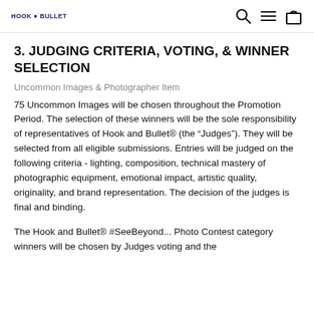HOOK & BULLET
3. JUDGING CRITERIA, VOTING, & WINNER SELECTION
Uncommon Images & Photographer Item
75 Uncommon Images will be chosen throughout the Promotion Period. The selection of these winners will be the sole responsibility of representatives of Hook and Bullet® (the “Judges”). They will be selected from all eligible submissions. Entries will be judged on the following criteria - lighting, composition, technical mastery of photographic equipment, emotional impact, artistic quality, originality, and brand representation. The decision of the judges is final and binding.
The Hook and Bullet® #SeeBeyond... Photo Contest category winners will be chosen by Judges voting and the